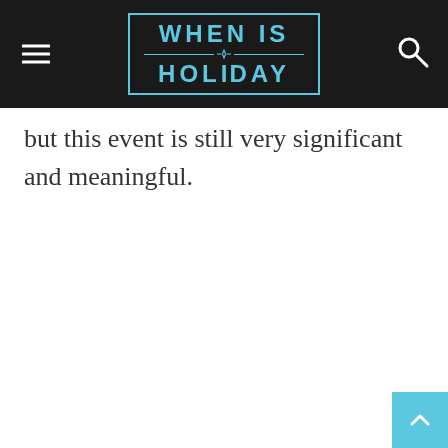WHEN IS HOLIDAY
but this event is still very significant and meaningful.